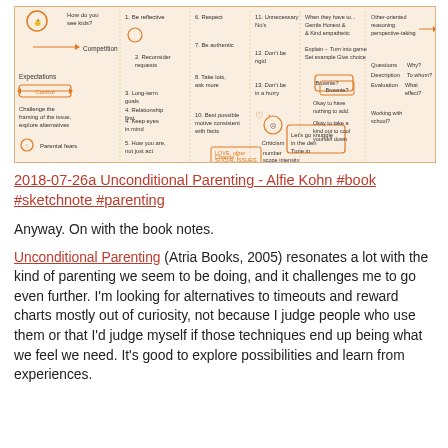[Figure (illustration): Sketchnote illustration summarizing 'Unconditional Parenting' by Alfie Kohn. Hand-drawn orange and black sketches depicting concepts such as competition, expectations, control, parental fears, long-term goals, relationship first, respect, authenticity, criticism, love, other-oriented reasoning, perspective-taking, questions/descriptions/evaluations, working with school, and more.]
2018-07-26a Unconditional Parenting - Alfie Kohn #book #sketchnote #parenting
Anyway. On with the book notes.
Unconditional Parenting (Atria Books, 2005) resonates a lot with the kind of parenting we seem to be doing, and it challenges me to go even further. I'm looking for alternatives to timeouts and reward charts mostly out of curiosity, not because I judge people who use them or that I'd judge myself if those techniques end up being what we feel we need. It's good to explore possibilities and learn from experiences.